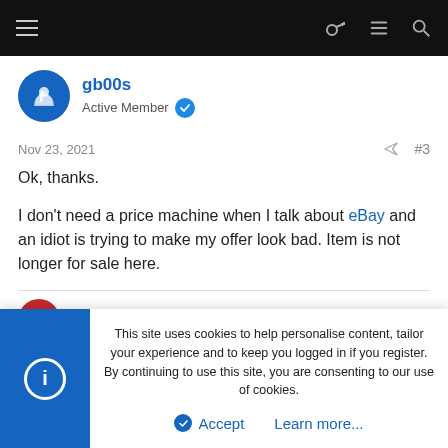Navigation bar with menu, key, list, and search icons
gb00s
Active Member
Nov 23, 2021   #3
Ok, thanks.

I don't need a price machine when I talk about eBay and an idiot is trying to make my offer look bad. Item is not longer for sale here.
This site uses cookies to help personalise content, tailor your experience and to keep you logged in if you register.
By continuing to use this site, you are consenting to our use of cookies.
Accept   Learn more...